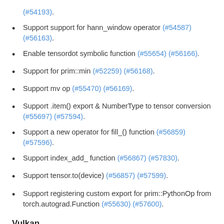(#54193).
Support support for hann_window operator (#54587) (#56163).
Enable tensordot symbolic function (#55654) (#56166).
Support for prim::min (#52259) (#56168).
Support mv op (#55470) (#56169).
Support .item() export & NumberType to tensor conversion (#55697) (#57594).
Support a new operator for fill_() function (#56859) (#57596).
Support index_add_ function (#56867) (#57830).
Support tensor.to(device) (#56857) (#57599).
Support registering custom export for prim::PythonOp from torch.autograd.Function (#55630) (#57600).
Vulkan
Added the bandwidthand bandei gmaidentification